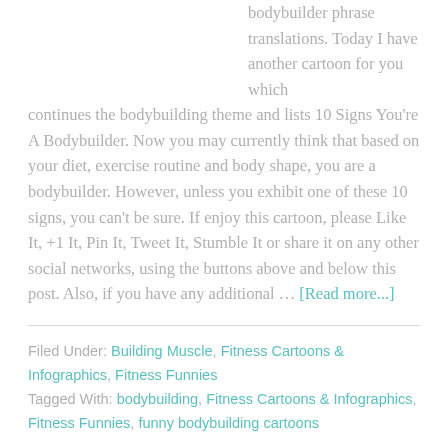bodybuilder phrase translations. Today I have another cartoon for you which continues the bodybuilding theme and lists 10 Signs You're A Bodybuilder. Now you may currently think that based on your diet, exercise routine and body shape, you are a bodybuilder. However, unless you exhibit one of these 10 signs, you can't be sure. If enjoy this cartoon, please Like It, +1 It, Pin It, Tweet It, Stumble It or share it on any other social networks, using the buttons above and below this post. Also, if you have any additional … [Read more...]
Filed Under: Building Muscle, Fitness Cartoons & Infographics, Fitness Funnies
Tagged With: bodybuilding, Fitness Cartoons & Infographics, Fitness Funnies, funny bodybuilding cartoons